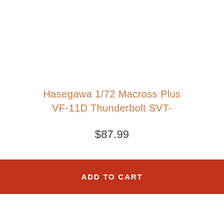Hasegawa 1/72 Macross Plus VF-11D Thunderbolt SVT-
$87.99
ADD TO CART